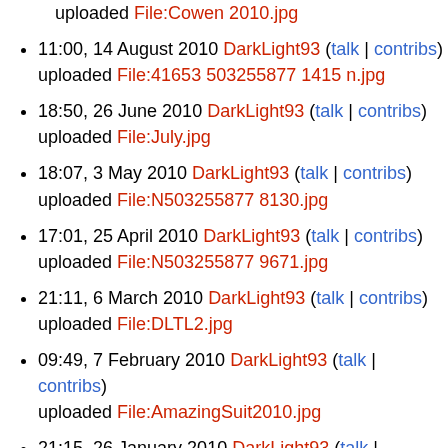uploaded File:Cowen 2010.jpg
11:00, 14 August 2010 DarkLight93 (talk | contribs) uploaded File:41653 503255877 1415 n.jpg
18:50, 26 June 2010 DarkLight93 (talk | contribs) uploaded File:July.jpg
18:07, 3 May 2010 DarkLight93 (talk | contribs) uploaded File:N503255877 8130.jpg
17:01, 25 April 2010 DarkLight93 (talk | contribs) uploaded File:N503255877 9671.jpg
21:11, 6 March 2010 DarkLight93 (talk | contribs) uploaded File:DLTL2.jpg
09:49, 7 February 2010 DarkLight93 (talk | contribs) uploaded File:AmazingSuit2010.jpg
21:15, 26 January 2010 DarkLight93 (talk | contribs)